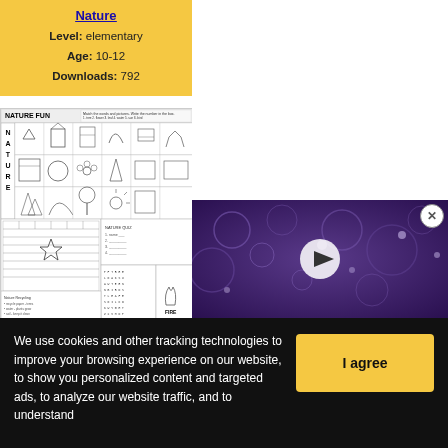Nature
Level: elementary
Age: 10-12
Downloads: 792
[Figure (illustration): Nature Fun worksheet preview showing a word search grid with nature-themed images, matching exercises, and activity sections including FIRE label]
[Figure (photo): Close-up macro photo of purple/blue textured natural surface (possibly coral or plant), shown as video thumbnail with play button overlay]
We use cookies and other tracking technologies to improve your browsing experience on our website, to show you personalized content and targeted ads, to analyze our website traffic, and to understand
I agree